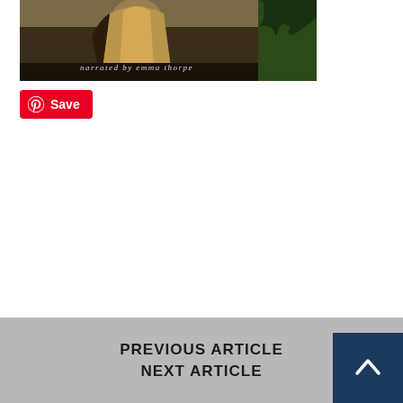[Figure (illustration): Book cover image showing a robed figure with golden/tan drapery against a dark background with foliage on the right side, with text 'narrated by emma thorpe' overlaid in italic white text at the bottom]
[Figure (other): Pinterest Save button — red rounded rectangle with Pinterest circle logo and 'Save' text in white]
PREVIOUS ARTICLE
NEXT ARTICLE
[Figure (other): Scroll-to-top button — dark teal/navy square with upward-pointing chevron arrow in white]